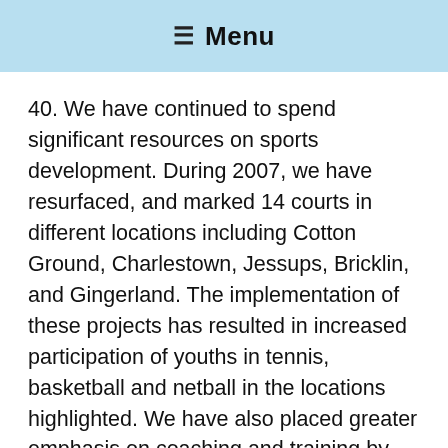☰ Menu
40. We have continued to spend significant resources on sports development. During 2007, we have resurfaced, and marked 14 courts in different locations including Cotton Ground, Charlestown, Jessups, Bricklin, and Gingerland. The implementation of these projects has resulted in increased participation of youths in tennis, basketball and netball in the locations highlighted. We have also placed greater emphasis on coaching and training by using the National Cricket